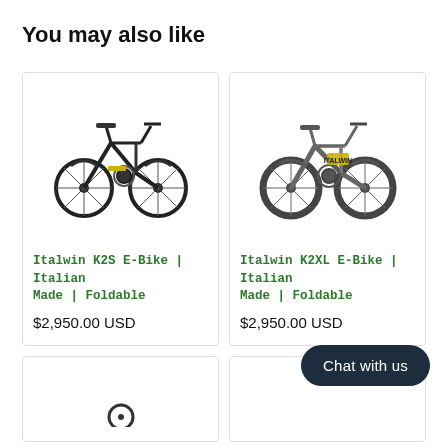You may also like
[Figure (photo): Italwin K2S folding e-bike, black/dark color with yellow accents, side view]
Italwin K2S E-Bike | Italian Made | Foldable
$2,950.00 USD
[Figure (photo): Italwin K2XL folding e-bike, grey color with yellow accents, fat tires, side view]
Italwin K2XL E-Bike | Italian Made | Foldable
$2,950.00 USD
[Figure (photo): Partial view of another e-bike product card at bottom left]
[Figure (photo): Partial view of another e-bike product card at bottom right]